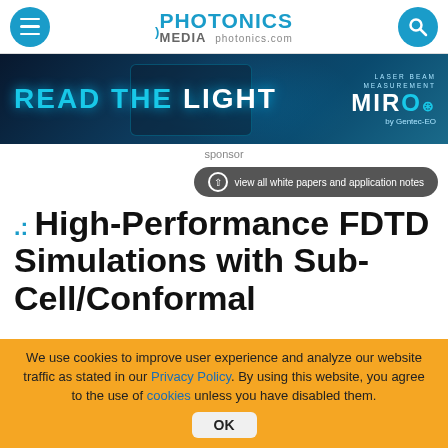Photonics Media photonics.com
[Figure (photo): Advertising banner: READ THE LIGHT — MIRO by Gentec-EO laser beam measurement product]
sponsor
view all white papers and application notes
.: High-Performance FDTD Simulations with Sub-Cell/Conformal
We use cookies to improve user experience and analyze our website traffic as stated in our Privacy Policy. By using this website, you agree to the use of cookies unless you have disabled them. OK